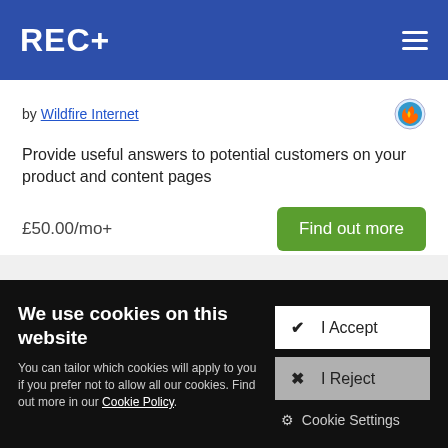REC+
by Wildfire Internet
Provide useful answers to potential customers on your product and content pages
£50.00/mo+
Find out more
We use cookies on this website
You can tailor which cookies will apply to you if you prefer not to allow all our cookies. Find out more in our Cookie Policy.
✔ I Accept
✖ I Reject
⚙ Cookie Settings